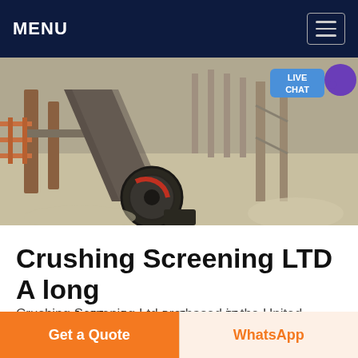MENU
[Figure (photo): Industrial crushing and screening machinery at a quarry or construction site, showing conveyor belts, large wheels, metal structures, and aggregate material on the ground. A 'LIVE CHAT' badge is overlaid in the top-right corner.]
Crushing Screening LTD A long Established family
Crushing Screening Ltd are based in the United Kingdom with a manufacturing facility and workshop complete with the engineering fabrication and design equipment to offer an unrivalled service We are focused on supplying a high
Get a Quote   WhatsApp